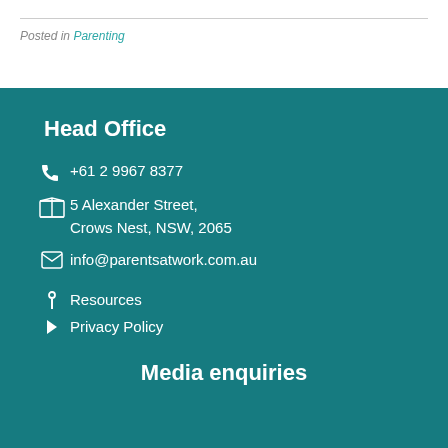Posted in Parenting
Head Office
+61 2 9967 8377
5 Alexander Street, Crows Nest, NSW, 2065
info@parentsatwork.com.au
Resources
Privacy Policy
Media enquiries